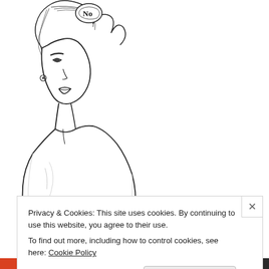[Figure (illustration): Line art illustration of a stylized woman with hair up, wearing a medical or nurse outfit with a cross symbol, shown in profile/three-quarter view from roughly the shoulders up, drawn in black ink on white background.]
Recommended By:
Privacy & Cookies: This site uses cookies. By continuing to use this website, you agree to their use.
To find out more, including how to control cookies, see here: Cookie Policy
Close and accept